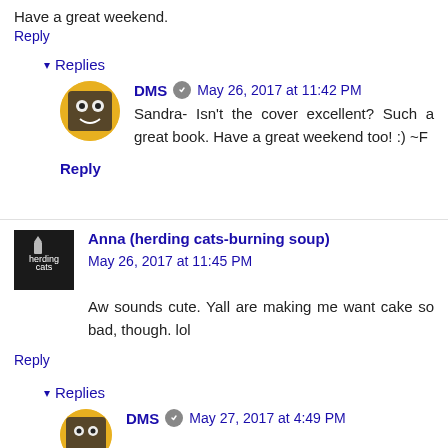Have a great weekend.
Reply
Replies
DMS  May 26, 2017 at 11:42 PM
Sandra- Isn't the cover excellent? Such a great book. Have a great weekend too! :) ~F
Reply
Anna (herding cats-burning soup)  May 26, 2017 at 11:45 PM
Aw sounds cute. Yall are making me want cake so bad, though. lol
Reply
Replies
DMS  May 27, 2017 at 4:49 PM